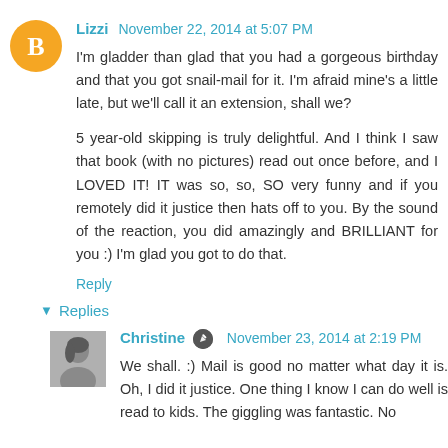Lizzi November 22, 2014 at 5:07 PM
I'm gladder than glad that you had a gorgeous birthday and that you got snail-mail for it. I'm afraid mine's a little late, but we'll call it an extension, shall we?
5 year-old skipping is truly delightful. And I think I saw that book (with no pictures) read out once before, and I LOVED IT! IT was so, so, SO very funny and if you remotely did it justice then hats off to you. By the sound of the reaction, you did amazingly and BRILLIANT for you :) I'm glad you got to do that.
Reply
Replies
Christine November 23, 2014 at 2:19 PM
We shall. :) Mail is good no matter what day it is. Oh, I did it justice. One thing I know I can do well is read to kids. The giggling was fantastic. No